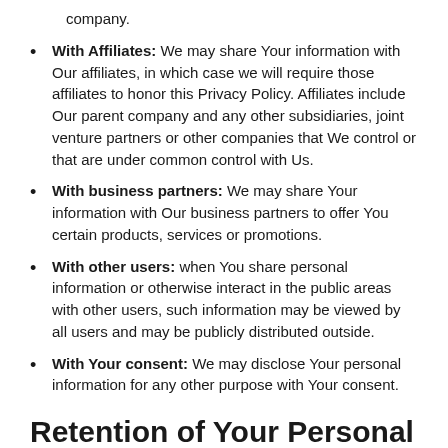company.
With Affiliates: We may share Your information with Our affiliates, in which case we will require those affiliates to honor this Privacy Policy. Affiliates include Our parent company and any other subsidiaries, joint venture partners or other companies that We control or that are under common control with Us.
With business partners: We may share Your information with Our business partners to offer You certain products, services or promotions.
With other users: when You share personal information or otherwise interact in the public areas with other users, such information may be viewed by all users and may be publicly distributed outside.
With Your consent: We may disclose Your personal information for any other purpose with Your consent.
Retention of Your Personal